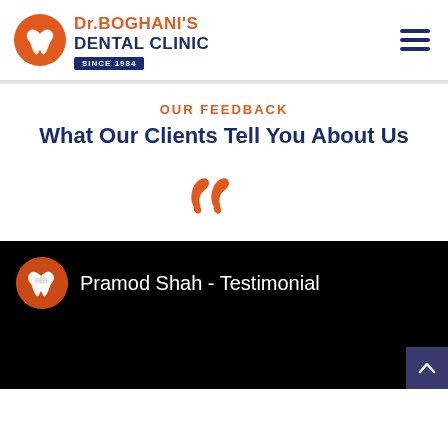[Figure (logo): Dr. Boghani's Dental Clinic logo with tooth icon and SINCE 1984 badge]
OUR FEEDBACK
What Our Clients Tell You About Us
[Figure (illustration): Orange quotation marks icon (open double quote)]
[Figure (screenshot): Video testimonial thumbnail with orange avatar tooth icon and text: Pramaod Shah - Testimonial on black background]
[Figure (other): Scroll-to-top button (dark purple/navy) with upward chevron arrow, bottom right corner]